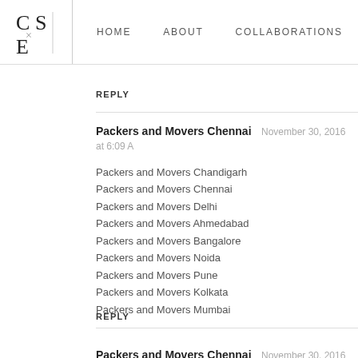CS×E | HOME  ABOUT  COLLABORATIONS  CONTA
REPLY
Packers and Movers Chennai  November 30, 2016 at 6:09 A
Packers and Movers Chandigarh
Packers and Movers Chennai
Packers and Movers Delhi
Packers and Movers Ahmedabad
Packers and Movers Bangalore
Packers and Movers Noida
Packers and Movers Pune
Packers and Movers Kolkata
Packers and Movers Mumbai
REPLY
Packers and Movers Chennai  November 30, 2016 at 6:09